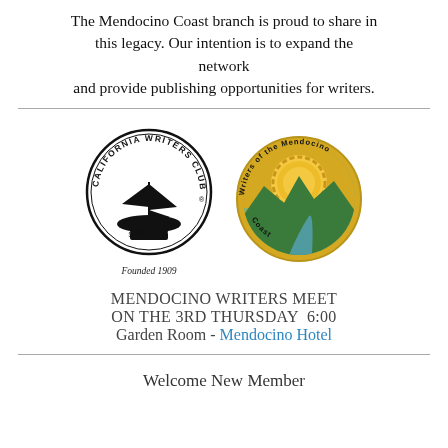The Mendocino Coast branch is proud to share in this legacy. Our intention is to expand the network and provide publishing opportunities for writers.
[Figure (logo): California Writers Club circular logo with ship and 'Founded 1909' text, alongside Mendocino Coast Writers circular logo with landscape and golden sun.]
MENDOCINO WRITERS MEET ON THE 3RD THURSDAY  6:00 Garden Room - Mendocino Hotel
Welcome New Member